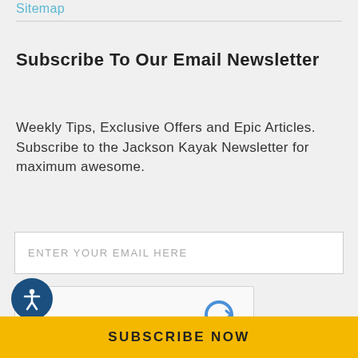Sitemap
Subscribe To Our Email Newsletter
Weekly Tips, Exclusive Offers and Epic Articles. Subscribe to the Jackson Kayak Newsletter for maximum awesome.
[Figure (screenshot): Email input field with placeholder text ENTER YOUR EMAIL HERE]
[Figure (screenshot): reCAPTCHA widget with checkbox labeled I'm not a robot]
[Figure (screenshot): Accessibility icon button (person in circle) in dark blue]
[Figure (screenshot): Yellow Subscribe Now button at the bottom of the page]